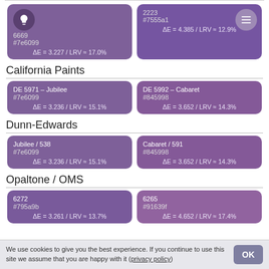[Figure (other): Two color swatches showing purple color matches. Left: id 6669, hex #7e6099, ΔE=3.227/LRV≈17.0%. Right: 2223, hex #7555a1, ΔE=4.385/LRV≈12.9%]
California Paints
[Figure (other): Two California Paints color swatches. Left: DE 5971 – Jubilee, #7e6099, ΔE=3.236/LRV≈15.1%. Right: DE 5992 – Cabaret, #845998, ΔE=3.652/LRV≈14.3%]
Dunn-Edwards
[Figure (other): Two Dunn-Edwards color swatches. Left: Jubilee / 538, #7e6099, ΔE=3.236/LRV≈15.1%. Right: Cabaret / 591, #845998, ΔE=3.652/LRV≈14.3%]
Opaltone / OMS
[Figure (other): Two Opaltone/OMS color swatches. Left: 6272, #795a9b, ΔE=3.261/LRV≈13.7%. Right: 6265, #91639f, ΔE=4.652/LRV≈17.4%]
We use cookies to give you the best experience. If you continue to use this site we assume that you are happy with it (privacy policy)